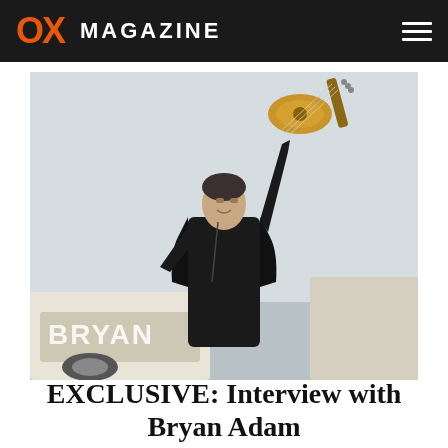OX MAGAZINE
[Figure (photo): Man in black leather jacket holding a golden acoustic guitar raised above his head, standing in front of a classic convertible car, photographed outdoors against a light grey sky.]
EXCLUSIVE: Interview with Bryan Adam